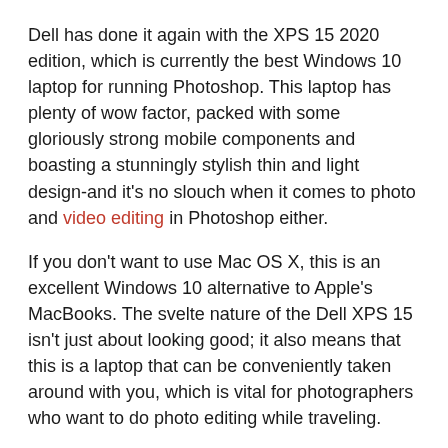Dell has done it again with the XPS 15 2020 edition, which is currently the best Windows 10 laptop for running Photoshop. This laptop has plenty of wow factor, packed with some gloriously strong mobile components and boasting a stunningly stylish thin and light design-and it's no slouch when it comes to photo and video editing in Photoshop either.
If you don't want to use Mac OS X, this is an excellent Windows 10 alternative to Apple's MacBooks. The svelte nature of the Dell XPS 15 isn't just about looking good; it also means that this is a laptop that can be conveniently taken around with you, which is vital for photographers who want to do photo editing while traveling.
Specifications
CPU: 10th Gen Intel Core i5 – i7
Graphics: Intel UHD Graphics – NVIDIA GeForce